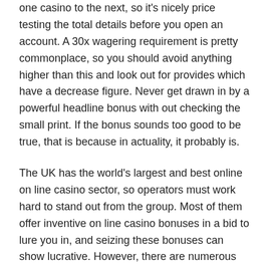one casino to the next, so it's nicely price testing the total details before you open an account. A 30x wagering requirement is pretty commonplace, so you should avoid anything higher than this and look out for provides which have a decrease figure. Never get drawn in by a powerful headline bonus with out checking the small print. If the bonus sounds too good to be true, that is because in actuality, it probably is.
The UK has the world's largest and best online on line casino sector, so operators must work hard to stand out from the group. Most of them offer inventive on line casino bonuses in a bid to lure you in, and seizing these bonuses can show lucrative. However, there are numerous terms and conditions to keep in mind, so it is important that you just arm yourself with a radical understanding of the bonuses that on line casino websites UK offer. Online Slots